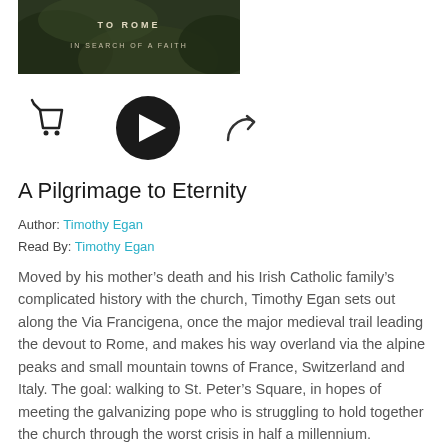[Figure (photo): Book cover for 'A Pilgrimage to Eternity' with text 'TO ROME IN SEARCH OF A FAITH' on a dark nature background, partially cropped at top]
[Figure (other): Three UI icons in a row: a shopping cart icon, a large black circular play button, and a curved share/reply arrow icon]
A Pilgrimage to Eternity
Author: Timothy Egan
Read By: Timothy Egan
Moved by his mother’s death and his Irish Catholic family’s complicated history with the church, Timothy Egan sets out along the Via Francigena, once the major medieval trail leading the devout to Rome, and makes his way overland via the alpine peaks and small mountain towns of France, Switzerland and Italy. The goal: walking to St. Peter’s Square, in hopes of meeting the galvanizing pope who is struggling to hold together the church through the worst crisis in half a millennium.